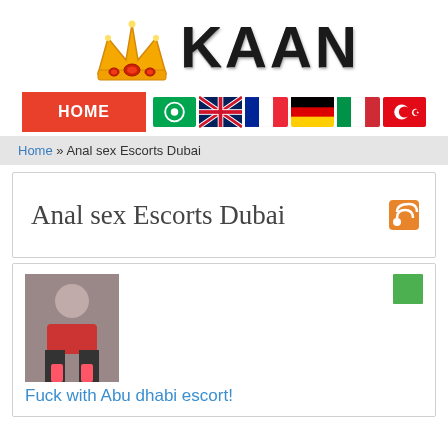[Figure (logo): KAAN website logo with a gold crown on the left and bold black text 'KAAN' on the right]
[Figure (infographic): Navigation bar with red HOME button and 6 country flag icons (Arabic, UK, French, German, Italian, Turkish)]
Home » Anal sex Escorts Dubai
Anal sex Escorts Dubai
[Figure (photo): Small thumbnail photo of a person in a red outfit]
Fuck with Abu dhabi escort!